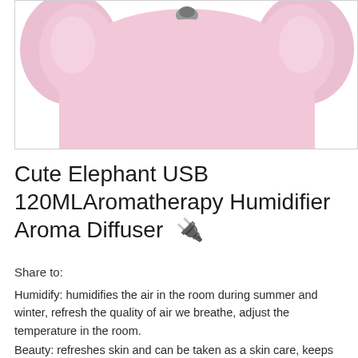[Figure (photo): A pink cute elephant-shaped USB humidifier/aroma diffuser product photo, showing the top portion of the device against a white background. The elephant has a rounded pink body with two ear-like protrusions and a small grey nozzle on top.]
Cute Elephant USB 120MLAromatherapy Humidifier Aroma Diffuser  🔌
Share to:
Humidify: humidifies the air in the room during summer and winter, refresh the quality of air we breathe, adjust the temperature in the room.
Beauty: refreshes skin and can be taken as a skin care, keeps skin healthy and moist.